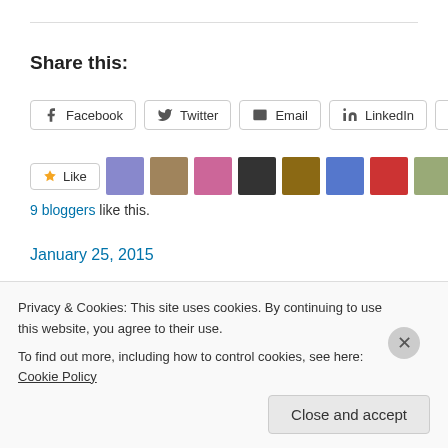Share this:
Facebook  Twitter  Email  LinkedIn  Tumblr
Like  [9 blogger avatars]
9 bloggers like this.
January 25, 2015
MtLawleyShire's Hyde Park
Privacy & Cookies: This site uses cookies. By continuing to use this website, you agree to their use. To find out more, including how to control cookies, see here: Cookie Policy